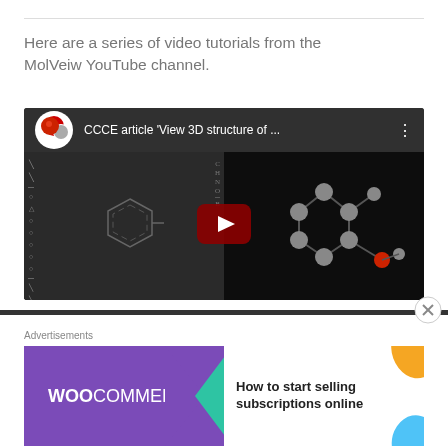Here are a series of video tutorials from the MolVeiw YouTube channel.
[Figure (screenshot): YouTube video thumbnail showing 'CCCE article View 3D structure of ...' with MolView interface on left showing a benzene ring structure and a 3D molecular model on the right with a red play button in the center]
Advertisements
[Figure (screenshot): WooCommerce advertisement banner: purple left side with WooCommerce logo and green arrow, right side with text 'How to start selling subscriptions online' and orange/blue decorative shapes]